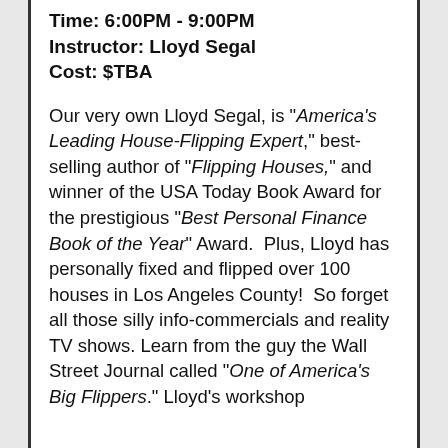Time: 6:00PM - 9:00PM
Instructor: Lloyd Segal
Cost: $TBA
Our very own Lloyd Segal, is "America's Leading House-Flipping Expert," best-selling author of "Flipping Houses," and winner of the USA Today Book Award for the prestigious "Best Personal Finance Book of the Year" Award.  Plus, Lloyd has personally fixed and flipped over 100 houses in Los Angeles County!  So forget all those silly info-commercials and reality TV shows. Learn from the guy the Wall Street Journal called "One of America's Big Flippers." Lloyd's workshop